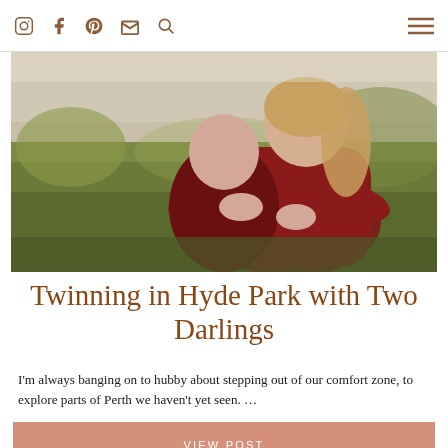Instagram, Facebook, Pinterest, Email, Search, Menu icons
[Figure (photo): A mother and young child both dressed in dark red/burgundy outfits sitting on grass in a park. The mother sits behind the child, hugging her from behind. Outdoor setting with green grass in background.]
Twinning in Hyde Park with Two Darlings
I'm always banging on to hubby about stepping out of our comfort zone, to explore parts of Perth we haven't yet seen. …
VIEW POST
2 COMMENTS